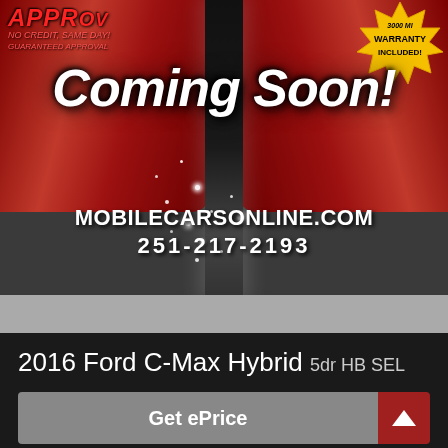[Figure (photo): Car dealership promotional banner with red curtains, sparkles, 'Coming Soon!' text, MOBILECARSONLINE.COM, 251-217-2193, approved badge top-left, warranty badge top-right]
2016 Ford C-Max Hybrid 5dr HB SEL
Get ePrice
Text Us